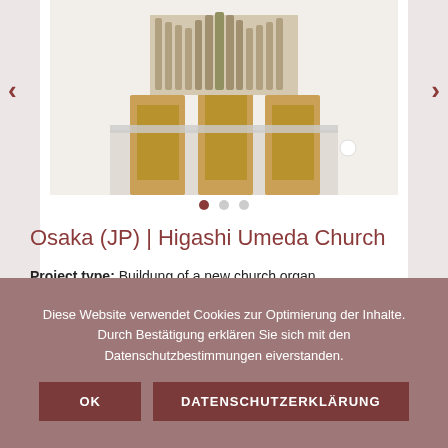[Figure (photo): Photo of a church organ interior at Higashi Umeda Church, Osaka, showing organ pipes and wooden case design in a white-walled church balcony setting.]
Osaka (JP) | Higashi Umeda Church
Project type: Buildung of a new church organ
Project period: 2004-2010
Design task: Modern organ design based on classic case principles.
ext. link: organ description
Diese Website verwendet Cookies zur Optimierung der Inhalte. Durch Bestätigung erklären Sie sich mit den Datenschutzbestimmungen eiverstanden.